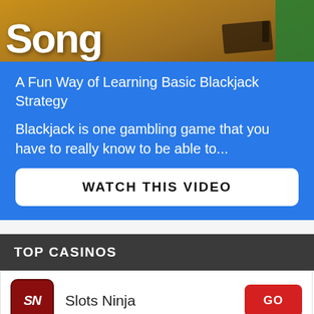[Figure (screenshot): Banner image with large white bold text 'Song' on brown/wood background with green element and gun graphic on the right]
A Fun Way of Learning Basic Blackjack Strategy
Blackjack is one gambling game that you have to really know to be able to...
WATCH THIS VIDEO
TOP CASINOS
Slots Ninja
Lucky Tiger
Shazam Casino